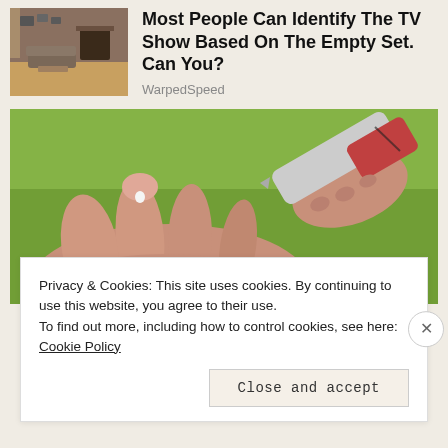[Figure (photo): Interior of a TV show set with furniture, fireplace, and living room decor]
Most People Can Identify The TV Show Based On The Empty Set. Can You?
WarpedSpeed
[Figure (photo): Close-up of a hand receiving a fingertip prick from a blood glucose lancet pen against a green background]
Privacy & Cookies: This site uses cookies. By continuing to use this website, you agree to their use.
To find out more, including how to control cookies, see here: Cookie Policy
Close and accept